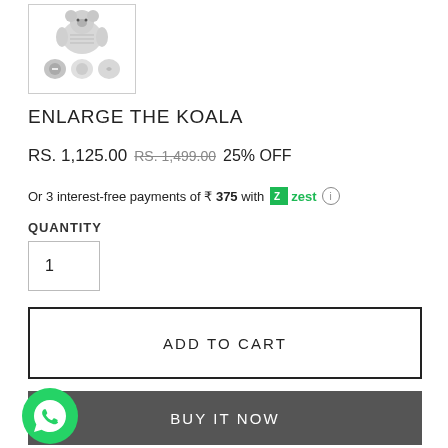[Figure (photo): Product image of Enlarge The Koala plush toy with three smaller thumbnail images below it, shown inside a bordered box]
ENLARGE THE KOALA
RS. 1,125.00  RS. 1,499.00  25% OFF
Or 3 interest-free payments of ₹ 375 with zest ℹ
QUANTITY
1
ADD TO CART
BUY IT NOW
[Figure (logo): WhatsApp green circular icon in the bottom left corner]